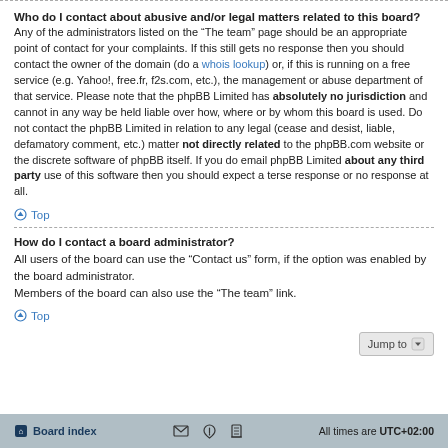Who do I contact about abusive and/or legal matters related to this board?
Any of the administrators listed on the “The team” page should be an appropriate point of contact for your complaints. If this still gets no response then you should contact the owner of the domain (do a whois lookup) or, if this is running on a free service (e.g. Yahoo!, free.fr, f2s.com, etc.), the management or abuse department of that service. Please note that the phpBB Limited has absolutely no jurisdiction and cannot in any way be held liable over how, where or by whom this board is used. Do not contact the phpBB Limited in relation to any legal (cease and desist, liable, defamatory comment, etc.) matter not directly related to the phpBB.com website or the discrete software of phpBB itself. If you do email phpBB Limited about any third party use of this software then you should expect a terse response or no response at all.
Top
How do I contact a board administrator?
All users of the board can use the “Contact us” form, if the option was enabled by the board administrator.
Members of the board can also use the “The team” link.
Top
Jump to
Board index   All times are UTC+02:00